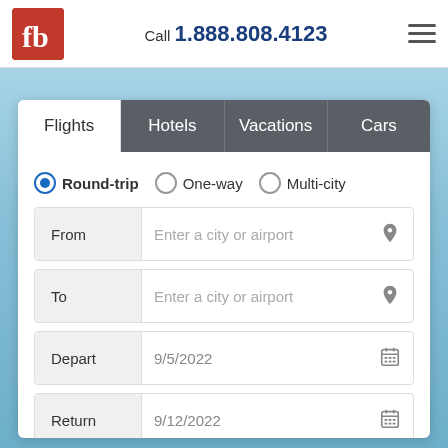[Figure (logo): fb logo in red square]
Call 1.888.808.4123
[Figure (other): Hamburger menu icon]
[Figure (other): Blue sky background photo]
Flights | Hotels | Vacations | Cars
Round-trip   One-way   Multi-city
From  Enter a city or airport
To  Enter a city or airport
Depart  9/5/2022
Return  9/12/2022